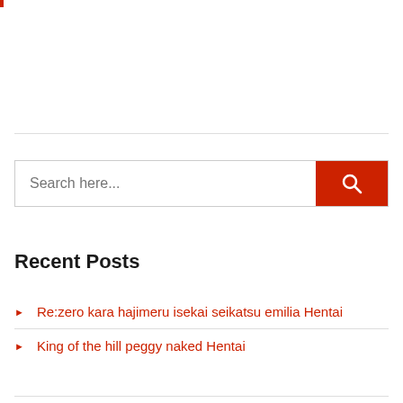[Figure (other): Small red accent bar at top left corner of page]
[Figure (other): Search bar with placeholder text 'Search here...' and a red search button with magnifying glass icon]
Recent Posts
Re:zero kara hajimeru isekai seikatsu emilia Hentai
King of the hill peggy naked Hentai